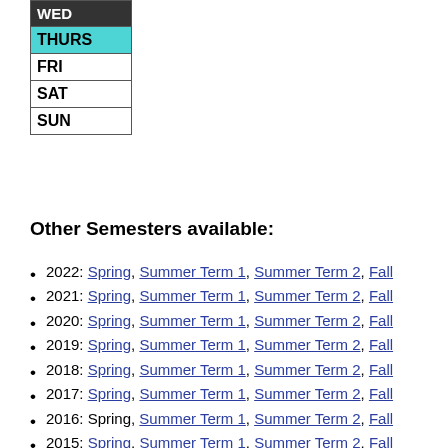|  |
| --- |
| WED |
| THURS |
| FRI |
| SAT |
| SUN |
Other Semesters available:
2022: Spring, Summer Term 1, Summer Term 2, Fall
2021: Spring, Summer Term 1, Summer Term 2, Fall
2020: Spring, Summer Term 1, Summer Term 2, Fall
2019: Spring, Summer Term 1, Summer Term 2, Fall
2018: Spring, Summer Term 1, Summer Term 2, Fall
2017: Spring, Summer Term 1, Summer Term 2, Fall
2016: Spring, Summer Term 1, Summer Term 2, Fall
2015: Spring, Summer Term 1, Summer Term 2, Fall
2014: Spring, Summer, Summer Term 1,